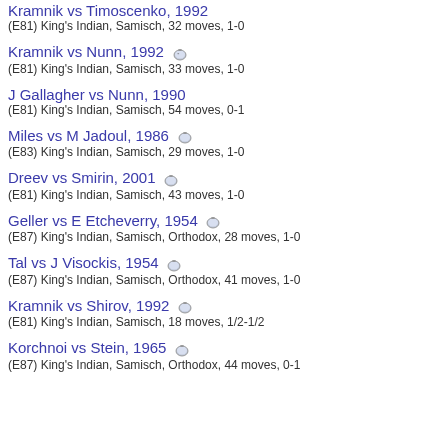Kramnik vs Timoscenko, 1992
(E81) King's Indian, Samisch, 32 moves, 1-0
Kramnik vs Nunn, 1992
(E81) King's Indian, Samisch, 33 moves, 1-0
J Gallagher vs Nunn, 1990
(E81) King's Indian, Samisch, 54 moves, 0-1
Miles vs M Jadoul, 1986
(E83) King's Indian, Samisch, 29 moves, 1-0
Dreev vs Smirin, 2001
(E81) King's Indian, Samisch, 43 moves, 1-0
Geller vs E Etcheverry, 1954
(E87) King's Indian, Samisch, Orthodox, 28 moves, 1-0
Tal vs J Visockis, 1954
(E87) King's Indian, Samisch, Orthodox, 41 moves, 1-0
Kramnik vs Shirov, 1992
(E81) King's Indian, Samisch, 18 moves, 1/2-1/2
Korchnoi vs Stein, 1965
(E87) King's Indian, Samisch, Orthodox, 44 moves, 0-1